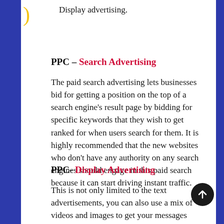Display advertising.
PPC – Search Advertising
The paid search advertising lets businesses bid for getting a position on the top of a search engine's result page by bidding for specific keywords that they wish to get ranked for when users search for them. It is highly recommended that the new websites who don't have any authority on any search engines should engage in this paid search because it can start driving instant traffic.
PPC- Display Advertising
This is not only limited to the text advertisements, you can also use a mix of videos and images to get your messages across. It is generally used to target the users interested in your products/services and are searching